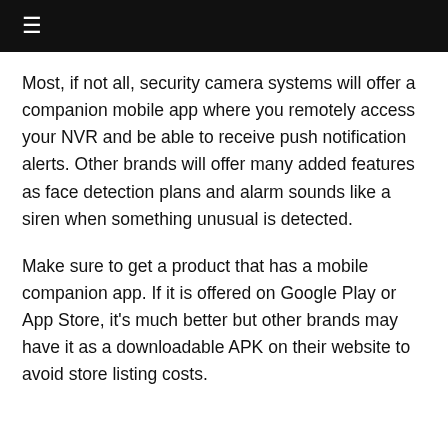≡
Most, if not all, security camera systems will offer a companion mobile app where you remotely access your NVR and be able to receive push notification alerts. Other brands will offer many added features as face detection plans and alarm sounds like a siren when something unusual is detected.
Make sure to get a product that has a mobile companion app. If it is offered on Google Play or App Store, it's much better but other brands may have it as a downloadable APK on their website to avoid store listing costs.